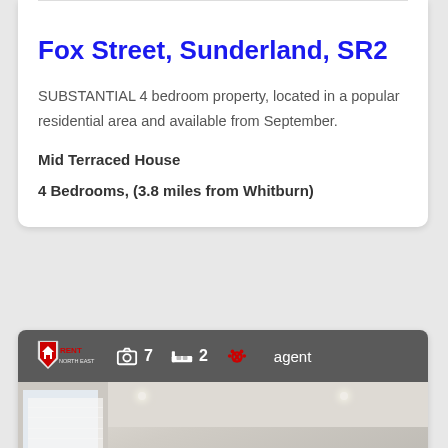Fox Street, Sunderland, SR2
SUBSTANTIAL 4 bedroom property, located in a popular residential area and available from September.
Mid Terraced House
4 Bedrooms, (3.8 miles from Whitburn)
[Figure (logo): Rent North East logo with camera icon showing 7 photos, bed icon showing 2 bedrooms, paw icon, and agent text label]
[Figure (photo): Interior room photo showing white vertical blinds on window, cream walls, ceiling with recessed lights]